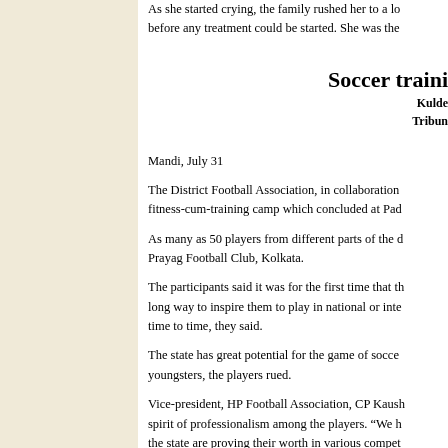As she started crying, the family rushed her to a lo before any treatment could be started. She was the
Soccer traini
Kulde Tribune
Mandi, July 31
The District Football Association, in collaboration fitness-cum-training camp which concluded at Pad
As many as 50 players from different parts of the d Prayag Football Club, Kolkata.
The participants said it was for the first time that th long way to inspire them to play in national or inte time to time, they said.
The state has great potential for the game of socce youngsters, the players rued.
Vice-president, HP Football Association, CP Kaush spirit of professionalism among the players. “We h the state are proving their worth in various compet
He said the association would organise a state-leve